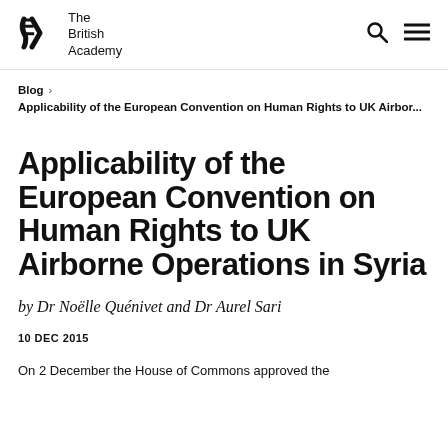The British Academy
Blog > Applicability of the European Convention on Human Rights to UK Airbor...
Applicability of the European Convention on Human Rights to UK Airborne Operations in Syria
by Dr Noëlle Quénivet and Dr Aurel Sari
10 DEC 2015
On 2 December the House of Commons approved the